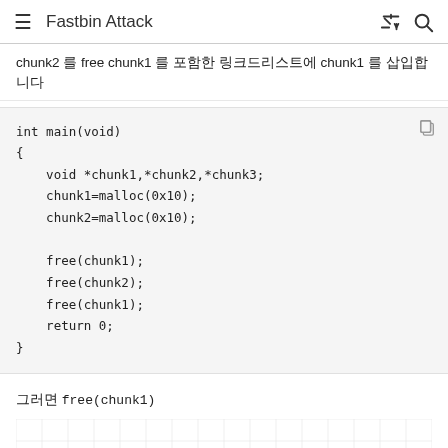Fastbin Attack
chunk2 를 free chunk1 를 포함한 링크드리스트에 chunk1 를 삽입합니다
int main(void)
{
    void *chunk1,*chunk2,*chunk3;
    chunk1=malloc(0x10);
    chunk2=malloc(0x10);

    free(chunk1);
    free(chunk2);
    free(chunk1);
    return 0;
}
그러면 free(chunk1)
[Figure (other): Diagram showing memory chunk layout with grid cells and boxes representing chunk1 and chunk2]